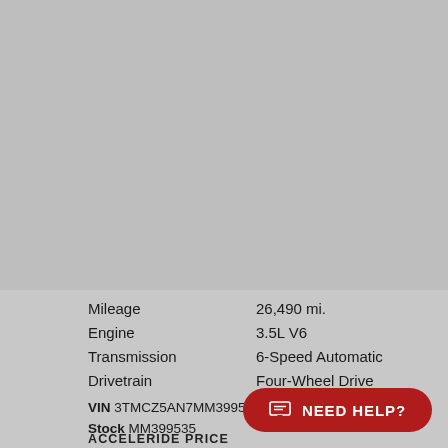[Figure (photo): Gray placeholder image area representing a vehicle photo]
| Mileage | 26,490 mi. |
| Engine | 3.5L V6 |
| Transmission | 6-Speed Automatic |
| Drivetrain | Four-Wheel Drive |
VIN 3TMCZ5AN7MM399535
Stock MM399535
NEED HELP?
ACCELERIDE PRICE